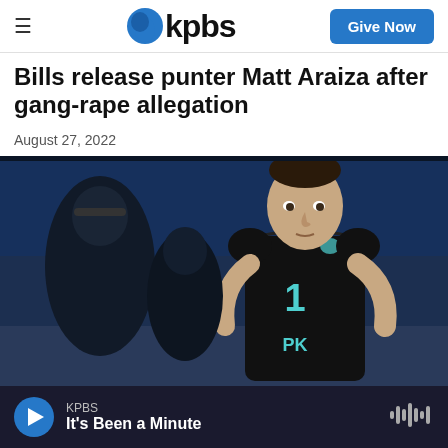KPBS — Give Now
Bills release punter Matt Araiza after gang-rape allegation
August 27, 2022
[Figure (photo): A young man in a black NFL combine jersey with number 1 and 'PK' lettering stands on an indoor athletic field. Another athlete is visible to the left in the background.]
KPBS — It's Been a Minute